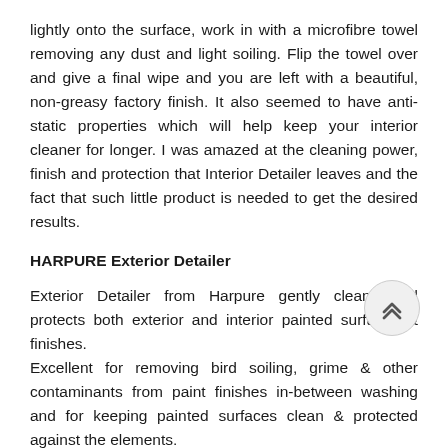lightly onto the surface, work in with a microfibre towel removing any dust and light soiling. Flip the towel over and give a final wipe and you are left with a beautiful, non-greasy factory finish. It also seemed to have anti-static properties which will help keep your interior cleaner for longer. I was amazed at the cleaning power, finish and protection that Interior Detailer leaves and the fact that such little product is needed to get the desired results.
HARPURE Exterior Detailer
Exterior Detailer from Harpure gently cleans and protects both exterior and interior painted surfaces & finishes. Excellent for removing bird soiling, grime & other contaminants from paint finishes in-between washing and for keeping painted surfaces clean & protected against the elements. Exterior Detailer spray has a pleasant scent but also a faint hint of IPA (Isopropyl Alcohol). Exterior Detailer is very easy to apply and remove and leaves an incredible high gloss, slick, wet look